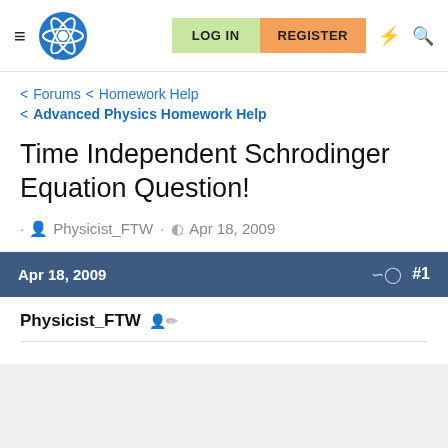≡ [logo] LOG IN  REGISTER
< Forums < Homework Help
< Advanced Physics Homework Help
Time Independent Schrodinger Equation Question!
· Physicist_FTW · Apr 18, 2009
Apr 18, 2009  #1
Physicist_FTW